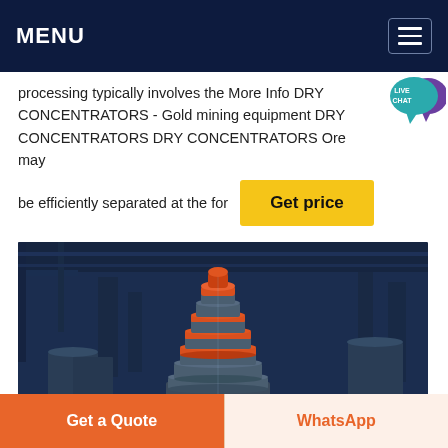MENU
processing typically involves the More Info DRY CONCENTRATORS - Gold mining equipment DRY CONCENTRATORS DRY CONCENTRATORS Ore may be efficiently separated at the for
[Figure (illustration): Live chat speech bubble icon with text LIVE CHAT in teal/purple colors]
[Figure (photo): Industrial mining equipment - large conical crusher/concentrator machine with orange and silver metallic rings inside a factory/warehouse with blue-toned lighting]
Get price
Get a Quote
WhatsApp